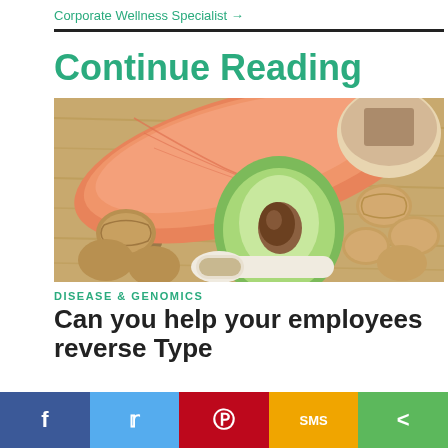Corporate Wellness Specialist →
Continue Reading
[Figure (photo): Food items on a wooden cutting board including a salmon fillet, halved avocado, walnuts, chia seeds in a spoon, and a bowl of flaxseeds/seeds]
DISEASE & GENOMICS
Can you help your employees reverse Type